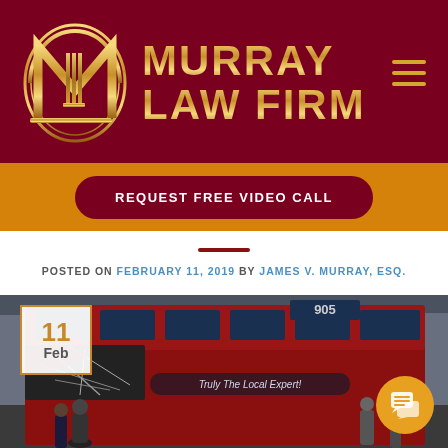[Figure (logo): Murray Law Firm logo with stylized gold M and scales of justice on dark red background]
REQUEST FREE VIDEO CALL
POSTED ON FEBRUARY 11, 2019 BY JAMES V. MURRAY, ESQ.
[Figure (photo): Photo of a damaged red double-decker bus on a city street with a cracked windshield. A date badge showing 11 Feb is overlaid in the upper left corner.]